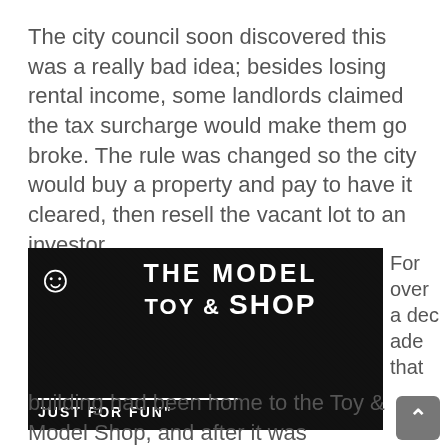The city council soon discovered this was a really bad idea; besides losing rental income, some landlords claimed the tax surcharge would make them go broke. The rule was changed so the city would buy a property and pay to have it cleared, then resell the vacant lot to an investor.
[Figure (photo): Black and white logo of 'The Toy & Model Shop' with a smiley face character on the left and text reading 'JUST FOR FUN' at the bottom]
For over a decade that building had been home to the Toy & Model Shop, and after it was condemned